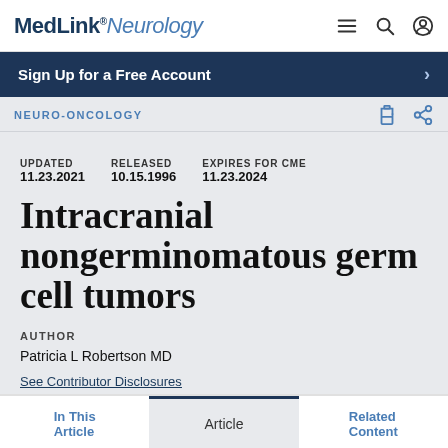MedLink® Neurology
Sign Up for a Free Account
NEURO-ONCOLOGY
UPDATED 11.23.2021   RELEASED 10.15.1996   EXPIRES FOR CME 11.23.2024
Intracranial nongerminomatous germ cell tumors
AUTHOR
Patricia L Robertson MD
See Contributor Disclosures
In This Article   Article   Related Content